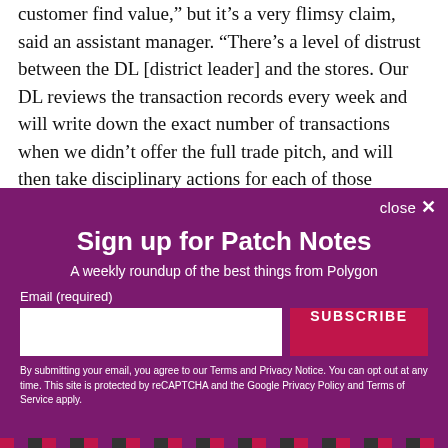customer find value,” but it’s a very flimsy claim, said an assistant manager. “There’s a level of distrust between the DL [district leader] and the stores. Our DL reviews the transaction records every week and will write down the exact number of transactions when we didn’t offer the full trade pitch, and will then take disciplinary actions for each of those employees.”
[Figure (other): Newsletter signup overlay with purple background. Title: 'Sign up for Patch Notes'. Subtitle: 'A weekly roundup of the best things from Polygon'. Email input field and SUBSCRIBE button. Terms text below.]